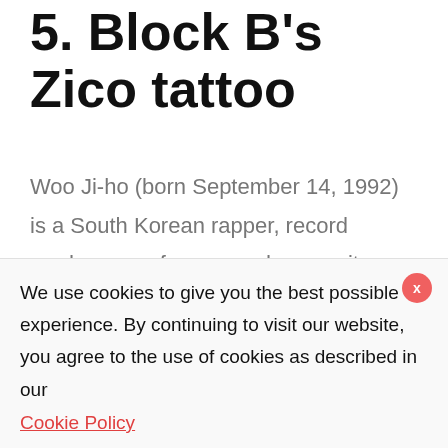5. Block B's Zico tattoo
Woo Ji-ho (born September 14, 1992) is a South Korean rapper, record producer, performer, and songwriter who goes by the stage name Zico. In 2011, he debuted as the leader of the boy band Block B, and in 2014, he released his first solo album. Zico has a number of tattoos on his body,
We use cookies to give you the best possible experience. By continuing to visit our website, you agree to the use of cookies as described in our
Cookie Policy